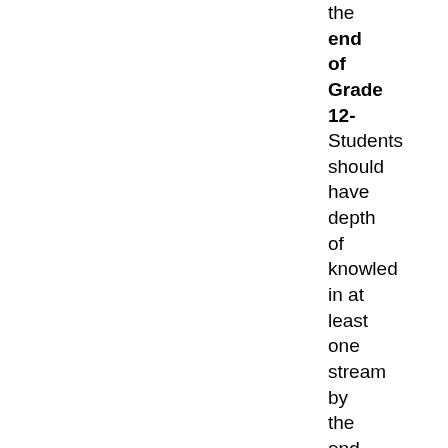the end of Grade 12- Students should have depth of knowledge in at least one stream by the end of Grade 12, if they are to